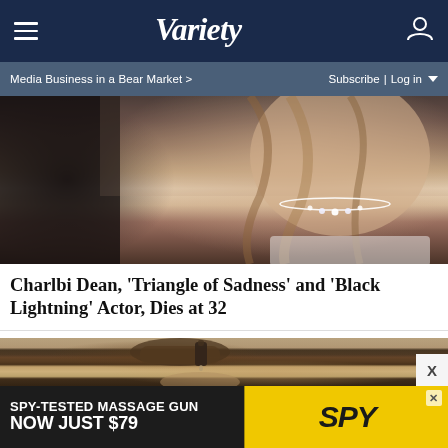VARIETY — Media Business in a Bear Market > | Subscribe | Log in
[Figure (photo): Close-up photo of a woman with long wavy hair wearing a diamond necklace and white dress, with a person in dark clothing visible in the background]
Charlbi Dean, 'Triangle of Sadness' and 'Black Lightning' Actor, Dies at 32
[Figure (photo): Photo of a hand holding a small dropper bottle dispensing liquid into a person's eye]
[Figure (advertisement): SPY brand advertisement: SPY-TESTED MASSAGE GUN NOW JUST $79 on yellow and black background]